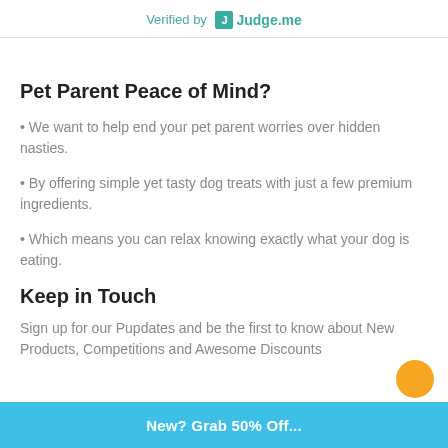Verified by Judge.me
Pet Parent Peace of Mind?
• We want to help end your pet parent worries over hidden nasties.
• By offering simple yet tasty dog treats with just a few premium ingredients.
• Which means you can relax knowing exactly what your dog is eating.
Keep in Touch
Sign up for our Pupdates and be the first to know about New Products, Competitions and Awesome Discounts
New? Grab 50% Off...